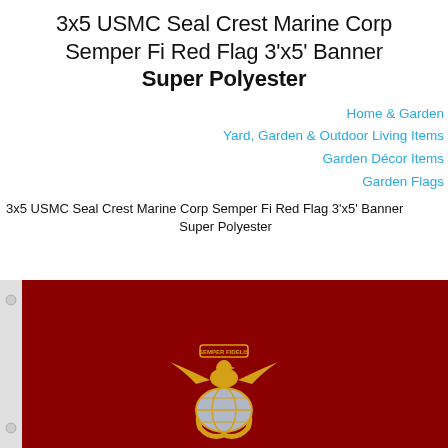3x5 USMC Seal Crest Marine Corp Semper Fi Red Flag 3'x5' Banner Super Polyester
Home & Garden
Yard, Garden & Outdoor Living Items
Garden Décor Items
Garden Flags
3x5 USMC Seal Crest Marine Corp Semper Fi Red Flag 3'x5' Banner Super Polyester
[Figure (photo): Photo of a red USMC Marine Corps flag with the gold Eagle, Globe and Anchor emblem and a banner reading SEMPER FIDELIS]